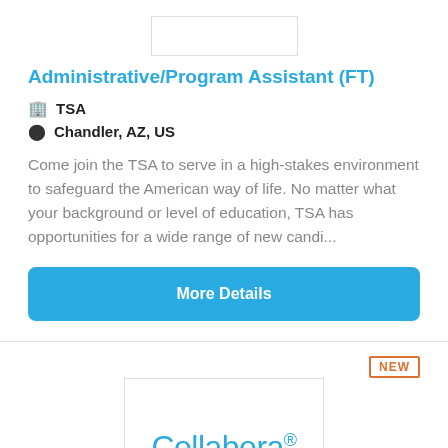[Figure (logo): Partial logo placeholder at top of first card]
Administrative/Program Assistant (FT)
TSA
Chandler, AZ, US
Come join the TSA to serve in a high-stakes environment to safeguard the American way of life. No matter what your background or level of education, TSA has opportunities for a wide range of new candi...
More Details
NEW
[Figure (logo): Collabera logo in white box]